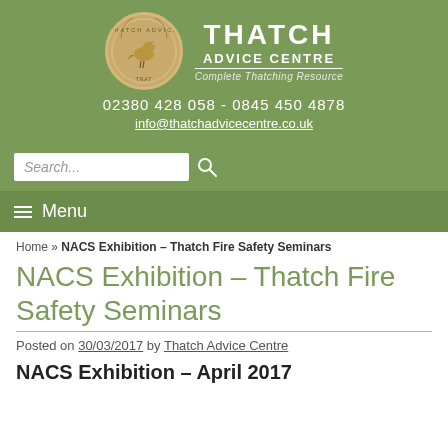[Figure (logo): Thatch Advice Centre circular logo with bird and gold border, alongside site name 'THATCH ADVICE CENTRE' and tagline 'Complete Thatching Resource']
02380 428 058  -  0845 450 4878
info@thatchadvicecentre.co.uk
≡  Menu
Home » NACS Exhibition – Thatch Fire Safety Seminars
NACS Exhibition – Thatch Fire Safety Seminars
Posted on 30/03/2017 by Thatch Advice Centre
NACS Exhibition – April 2017